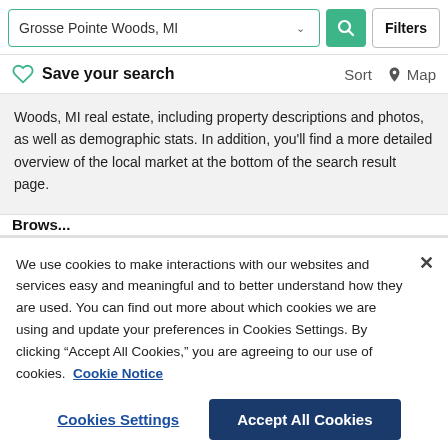[Figure (screenshot): Search bar with 'Grosse Pointe Woods, MI' input, green search button, and Filters button]
Save your search    Sort  Map
Woods, MI real estate, including property descriptions and photos, as well as demographic stats. In addition, you'll find a more detailed overview of the local market at the bottom of the search result page.
We use cookies to make interactions with our websites and services easy and meaningful and to better understand how they are used. You can find out more about which cookies we are using and update your preferences in Cookies Settings. By clicking “Accept All Cookies,” you are agreeing to our use of cookies.  Cookie Notice
Cookies Settings    Accept All Cookies